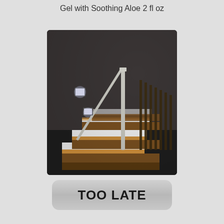Gel with Soothing Aloe 2 fl oz
[Figure (photo): Interior staircase in a dark setting with LED step lights illuminating the wooden stair treads and small square wall-mounted night lights on the wall beside the railing]
TOO LATE